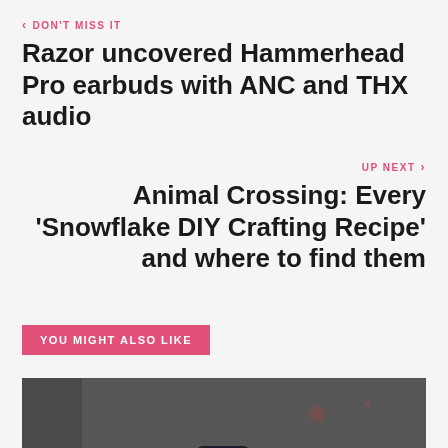DON'T MISS IT
Razor uncovered Hammerhead Pro earbuds with ANC and THX audio
UP NEXT
Animal Crossing: Every 'Snowflake DIY Crafting Recipe' and where to find them
YOU MIGHT ALSO LIKE
[Figure (photo): A smartphone mounted on a car dashboard phone holder in a vehicle interior. Bokeh lights visible in the background through the windshield.]